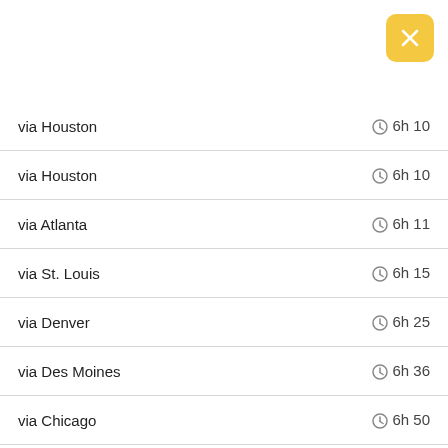[Figure (other): Yellow close button with X in top right corner]
| Route | Duration |
| --- | --- |
| via Houston | 6h 10 |
| via Houston | 6h 10 |
| via Atlanta | 6h 11 |
| via St. Louis | 6h 15 |
| via Denver | 6h 25 |
| via Des Moines | 6h 36 |
| via Chicago | 6h 50 |
| via Chicago | 7h 10 |
| via Minneapolis | 7h 25 |
| via Detroit | 7h 56 |
| via New York City | 8h 45 |
| via New York | 9h 01 |